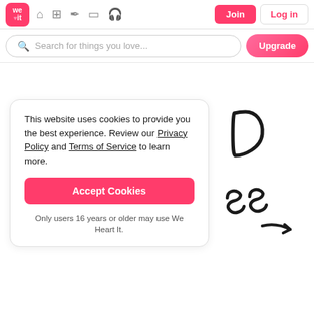we it [logo] [home icon] [grid icon] [feather icon] [card icon] [headphone icon] Join Log in
Search for things you love...
Upgrade
This website uses cookies to provide you the best experience. Review our Privacy Policy and Terms of Service to learn more.
Accept Cookies
Only users 16 years or older may use We Heart It.
[Figure (illustration): Handwritten cursive letters 'D' and 'ss' with an arrow, in black ink on white background]